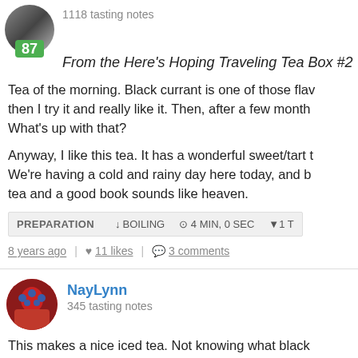1118 tasting notes
87
From the Here's Hoping Traveling Tea Box #2
Tea of the morning. Black currant is one of those flav then I try it and really like it. Then, after a few month What's up with that?
Anyway, I like this tea. It has a wonderful sweet/tart t We're having a cold and rainy day here today, and b tea and a good book sounds like heaven.
PREPARATION  ↓ BOILING  ⊙ 4 MIN, 0 SEC  ▼1 T
8 years ago  |  ♥ 11 likes  |  💬 3 comments
NayLynn
345 tasting notes
This makes a nice iced tea. Not knowing what black